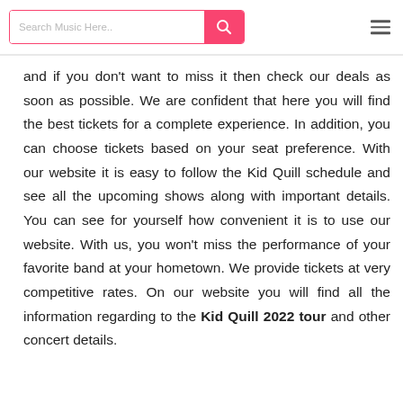Search Music Here..
and if you don't want to miss it then check our deals as soon as possible. We are confident that here you will find the best tickets for a complete experience. In addition, you can choose tickets based on your seat preference. With our website it is easy to follow the Kid Quill schedule and see all the upcoming shows along with important details. You can see for yourself how convenient it is to use our website. With us, you won't miss the performance of your favorite band at your hometown. We provide tickets at very competitive rates. On our website you will find all the information regarding to the Kid Quill 2022 tour and other concert details.